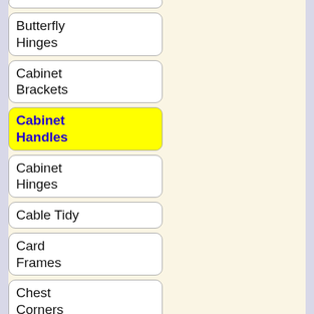Butterfly Hinges
Cabinet Brackets
Cabinet Handles
Cabinet Hinges
Cable Tidy
Card Frames
Chest Corners
Chest Handles
Concealed Hinges
Corner Brackets
Cupboard Catches